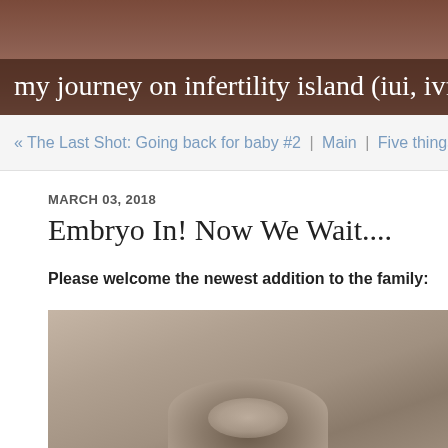my journey on infertility island (iui, ivf, donor eggs, embry...
« The Last Shot: Going back for baby #2 | Main | Five things I fo...
MARCH 03, 2018
Embryo In! Now We Wait....
Please welcome the newest addition to the family:
[Figure (photo): A blurred/soft-focus photograph showing what appears to be an embryo or ultrasound image on a beige/taupe background]